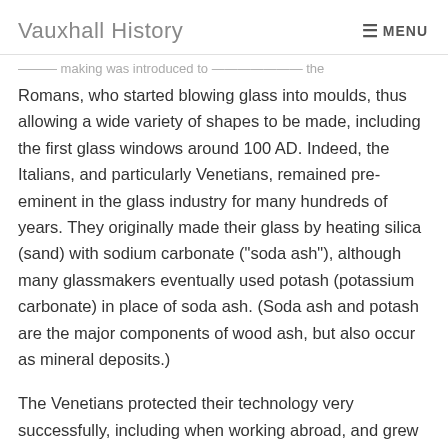Vauxhall History   MENU
glass making was introduced to Entirely the Romans, who started blowing glass into moulds, thus allowing a wide variety of shapes to be made, including the first glass windows around 100 AD. Indeed, the Italians, and particularly Venetians, remained pre-eminent in the glass industry for many hundreds of years. They originally made their glass by heating silica (sand) with sodium carbonate (“soda ash”), although many glassmakers eventually used potash (potassium carbonate) in place of soda ash. (Soda ash and potash are the major components of wood ash, but also occur as mineral deposits.)
The Venetians protected their technology very successfully, including when working abroad, and grew rich on its proceeds. But foreigners began to challenge Italian